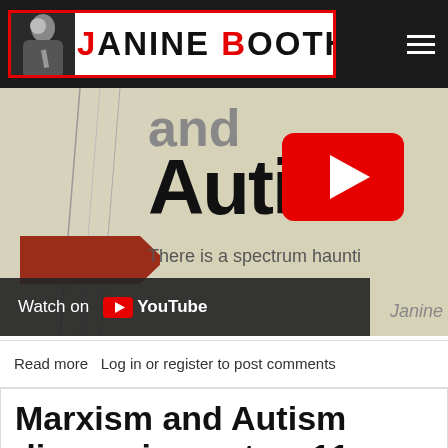JANINE BOOTH
[Figure (screenshot): YouTube video thumbnail showing a book cover with 'and Autism' text, a red YouTube play button overlay, and a 'Watch on YouTube' bar at the bottom. The book cover includes the text 'There is a spectrum haunti...' and 'Janine B...'. A red arrow shape is visible on the book cover.]
Read more   Log in or register to post comments
Marxism and Autism discussion notes, 11 June 2014